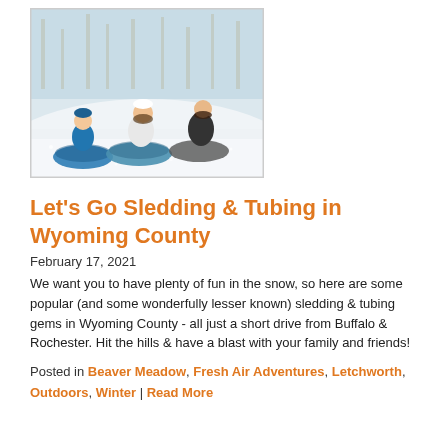[Figure (photo): People sledding/tubing down a snowy hill, including a child in blue jacket and adults/teens on inflatable tubes]
Let's Go Sledding & Tubing in Wyoming County
February 17, 2021
We want you to have plenty of fun in the snow, so here are some popular (and some wonderfully lesser known) sledding & tubing gems in Wyoming County - all just a short drive from Buffalo & Rochester. Hit the hills & have a blast with your family and friends!
Posted in Beaver Meadow, Fresh Air Adventures, Letchworth, Outdoors, Winter | Read More